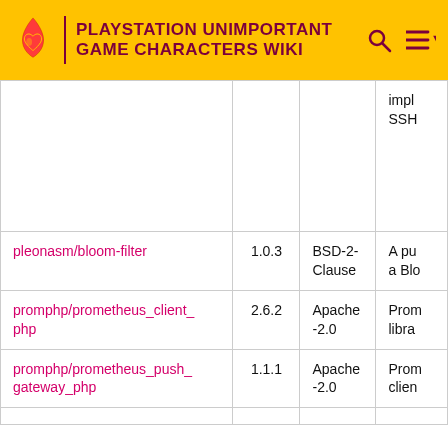PLAYSTATION UNIMPORTANT GAME CHARACTERS WIKI
| Package | Version | License | Description |
| --- | --- | --- | --- |
|  |  |  | impl
SSH |
| pleonasm/bloom-filter | 1.0.3 | BSD-2-Clause | A pu
a Blo |
| promphp/prometheus_client_php | 2.6.2 | Apache-2.0 | Prom
libra |
| promphp/prometheus_push_gateway_php | 1.1.1 | Apache-2.0 | Prom
clien |
| ... | ... | MIT... | ... |